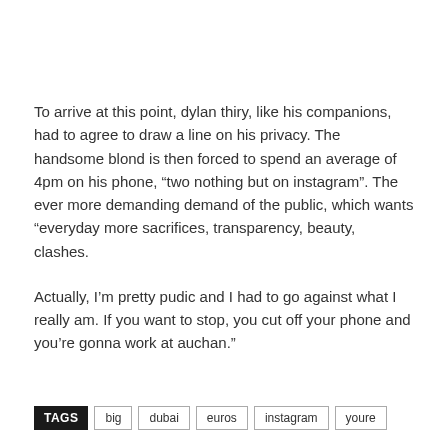To arrive at this point, dylan thiry, like his companions, had to agree to draw a line on his privacy. The handsome blond is then forced to spend an average of 4pm on his phone, “two nothing but on instagram”. The ever more demanding demand of the public, which wants “everyday more sacrifices, transparency, beauty, clashes.
Actually, I’m pretty pudic and I had to go against what I really am. If you want to stop, you cut off your phone and you’re gonna work at auchan.”
TAGS  big  dubai  euros  instagram  youre